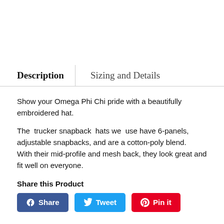Description | Sizing and Details
Show your Omega Phi Chi pride with a beautifully embroidered hat.
The trucker snapback hats we use have 6-panels, adjustable snapbacks, and are a cotton-poly blend. With their mid-profile and mesh back, they look great and fit well on everyone.
Share this Product
[Figure (other): Social share buttons: Facebook Share, Twitter Tweet, Pinterest Pin it]